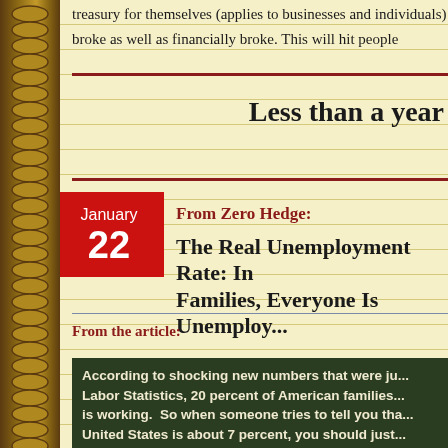treasury for themselves (applies to businesses and individuals) broke as well as financially broke. This will hit people
Less than a year
From Zero Hedge:
The Real Unemployment Rate: In 1 in 5 Families, Everyone Is Unemploy...
From the article:
According to shocking new numbers that were ju... Labor Statistics, 20 percent of American families... is working.  So when someone tries to tell you tha... United States is about 7 percent, you should just... in the entire country do not have a single membe...